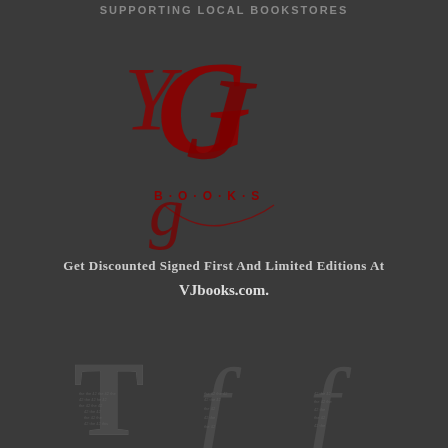SUPPORTING LOCAL BOOKSTORES
[Figure (logo): VJBooks logo in dark red/crimson script lettering with 'B·O·O·K·S' spelled out below decorative cursive initials]
Get Discounted Signed First And Limited Editions At
VJbooks.com.
[Figure (illustration): Three decorative letter 'T' or lowercase 'f' typographic characters made of text/micro-text, shown in dark style on dark background, three variants side by side]